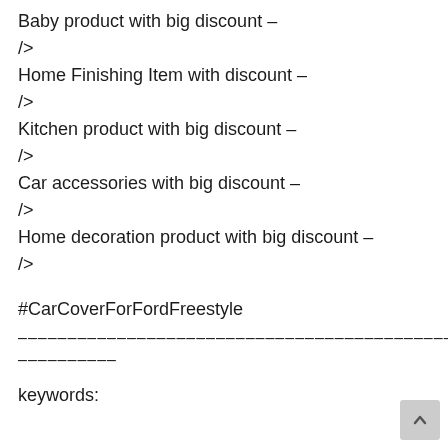Baby product with big discount –
/>
Home Finishing Item with discount –
/>
Kitchen product with big discount –
/>
Car accessories with big discount –
/>
Home decoration product with big discount –
/>
#CarCoverForFordFreestyle
——————————————————————————————————————————————————————
———————————
keywords: